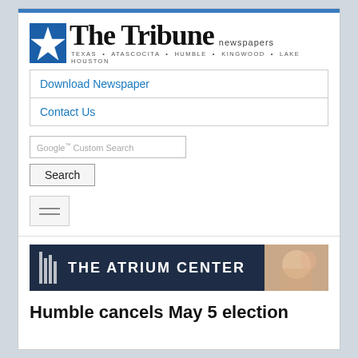[Figure (logo): The Tribune Newspapers logo with blue star and blackletter text. Tagline: TEXAS · ATASCOCITA · HUMBLE · KINGWOOD · LAKE HOUSTON]
Download Newspaper
Contact Us
Google™ Custom Search
[Figure (screenshot): Hamburger menu button (three horizontal lines)]
[Figure (other): THE ATRIUM CENTER advertisement banner with dark navy background and decorative photo]
Humble cancels May 5 election